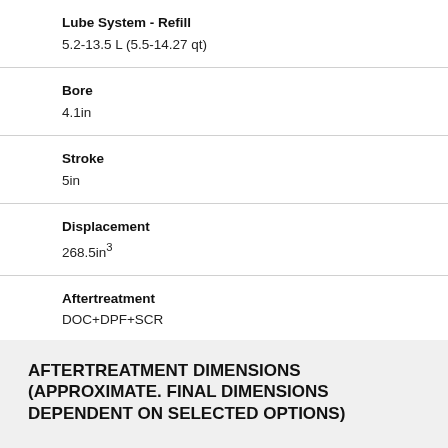Lube System - Refill
5.2-13.5 L (5.5-14.27 qt)
Bore
4.1in
Stroke
5in
Displacement
268.5in³
Aftertreatment
DOC+DPF+SCR
AFTERTREATMENT DIMENSIONS (APPROXIMATE. FINAL DIMENSIONS DEPENDENT ON SELECTED OPTIONS)